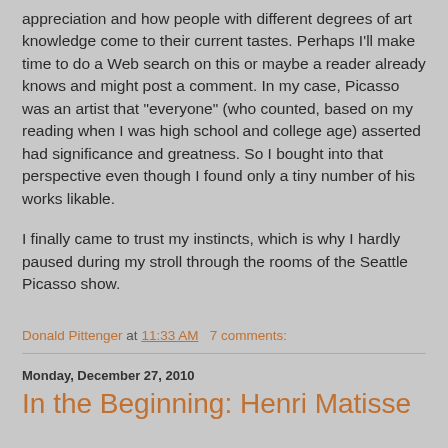appreciation and how people with different degrees of art knowledge come to their current tastes. Perhaps I'll make time to do a Web search on this or maybe a reader already knows and might post a comment. In my case, Picasso was an artist that "everyone" (who counted, based on my reading when I was high school and college age) asserted had significance and greatness. So I bought into that perspective even though I found only a tiny number of his works likable.
I finally came to trust my instincts, which is why I hardly paused during my stroll through the rooms of the Seattle Picasso show.
Donald Pittenger at 11:33 AM   7 comments:
Monday, December 27, 2010
In the Beginning: Henri Matisse